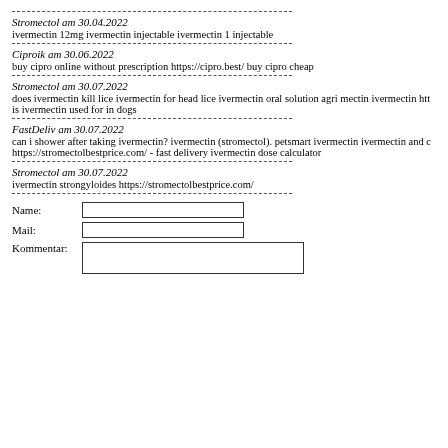------------------------------------------------
Stromectol am 30.04.2022
ivermectin 12mg ivermectin injectable ivermectin 1 injectable
------------------------------------------------
Ciproik am 30.06.2022
buy cipro online without prescription https://cipro.best/ buy cipro cheap
------------------------------------------------
Stromectol am 30.07.2022
does ivermectin kill lice ivermectin for head lice ivermectin oral solution agri mectin ivermectin htt is ivermectin used for in dogs
------------------------------------------------
FastDeliv am 30.07.2022
can i shower after taking ivermectin? ivermectin (stromectol). petsmart ivermectin ivermectin and c https://stromectolbestprice.com/ - fast delivery ivermectin dose calculator
------------------------------------------------
Stromectol am 30.07.2022
ivermectin strongyloides https://stromectolbestprice.com/
------------------------------------------------
Name: [input field]
Mail: [input field]
Kommentar: [textarea]